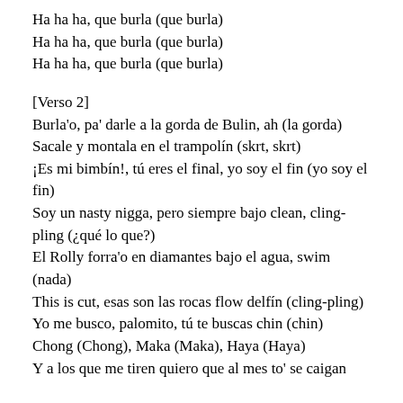Ha ha ha, que burla (que burla)
Ha ha ha, que burla (que burla)
Ha ha ha, que burla (que burla)
[Verso 2]
Burla'o, pa' darle a la gorda de Bulin, ah (la gorda)
Sacale y montala en el trampolín (skrt, skrt)
¡Es mi bimbín!, tú eres el final, yo soy el fin (yo soy el fin)
Soy un nasty nigga, pero siempre bajo clean, cling-pling (¿qué lo que?)
El Rolly forra'o en diamantes bajo el agua, swim (nada)
This is cut, esas son las rocas flow delfín (cling-pling)
Yo me busco, palomito, tú te buscas chin (chin)
Chong (Chong), Maka (Maka), Haya (Haya)
Y a los que me tiren quiero que al mes to' se caigan